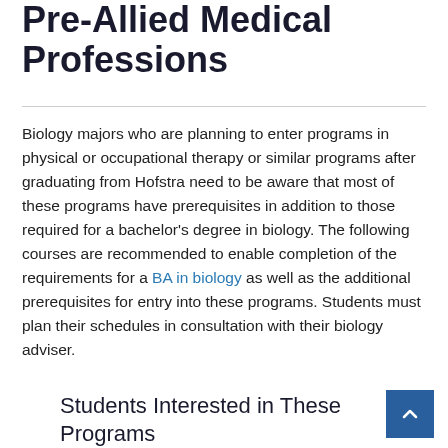Pre-Allied Medical Professions
Biology majors who are planning to enter programs in physical or occupational therapy or similar programs after graduating from Hofstra need to be aware that most of these programs have prerequisites in addition to those required for a bachelor's degree in biology. The following courses are recommended to enable completion of the requirements for a BA in biology as well as the additional prerequisites for entry into these programs. Students must plan their schedules in consultation with their biology adviser.
Students Interested in These Programs